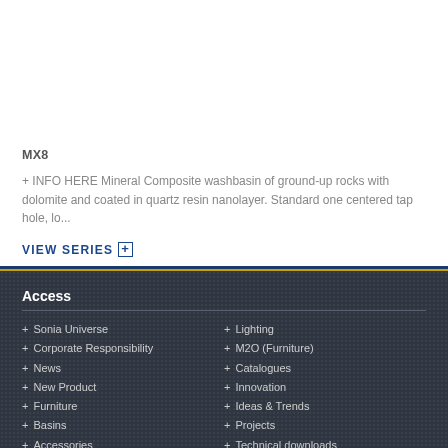MX8
+ INFO HERE Mineral Composite washbasin of ground-up rocks with dolomite and coated in quartz resin nanolayer. Standard one centered tap hole, lo...
VIEW SERIES +
Access
+ Sonia Universe
+ Corporate Responsibility
+ News
+ New Product
+ Furniture
+ Basins
+ Accessories
+ Lighting
+ M2O (Furniture)
+ Catalogues
+ Innovation
+ Ideas & Trends
+ Projects
+ Technical downloads